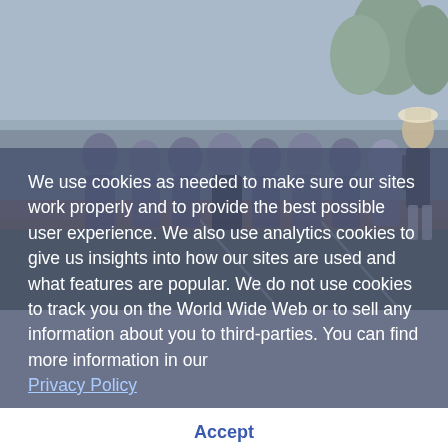[Figure (photo): Group photo of San Marino High School girls on a sports field/track, wearing purple uniforms. A person stands to the right side on the field.]
We use cookies as needed to make sure our sites work properly and to provide the best possible user experience. We also use analytics cookies to give us insights into how our sites are used and what features are popular. We do not use cookies to track you on the World Wide Web or to sell any information about you to third-parties. You can find more information in our Privacy Policy
The se[niors]... along with Faith Pierre, Macy M[...] Tim... Elissa Pa[...] Ball and Christianna Rasmussen. Back: coaches Timothy Irie and Niko Mavridis, Vivian Tao, Yuki Li, Madison Spitzer, Kate Brunner, Helen Ji[...] argett, Katherine Jain, Summer Lee and coach Brendan Gill. Photos by Mitch Lehman
Like just about every other athletic event, San Marino High School's annual powder puff football game between the school's junior and senior girls was forced to take a couple